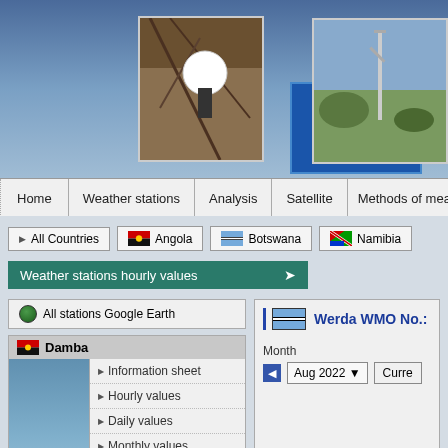[Figure (screenshot): Weather station website header banner with three photos of weather monitoring equipment against sky backgrounds]
Home | Weather stations | Analysis | Satellite | Methods of measurement
All Countries | Angola | Botswana | Namibia
Weather stations hourly values
All stations Google Earth
Damba
Information sheet
Hourly values
Daily values
Monthly values
Data sheet
Data availability:
28 Apr 2014 - 16 Apr 2015
Werda WMO No.:
Month
Aug 2022
Hourly values - 1 Aug 2022